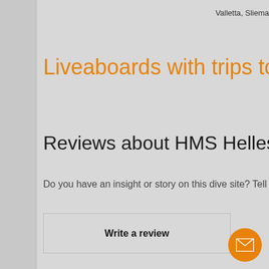Valletta, Sliema
Liveaboards with trips to HMS Hell
Reviews about HMS Hellespont
Do you have an insight or story on this dive site? Tell everyo
Write a review
[Figure (illustration): Orange circular mail/envelope icon button in bottom right corner]